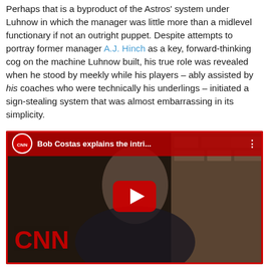Perhaps that is a byproduct of the Astros' system under Luhnow in which the manager was little more than a midlevel functionary if not an outright puppet. Despite attempts to portray former manager A.J. Hinch as a key, forward-thinking cog on the machine Luhnow built, his true role was revealed when he stood by meekly while his players – ably assisted by his coaches who were technically his underlings – initiated a sign-stealing system that was almost embarrassing in its simplicity.
[Figure (screenshot): Embedded YouTube video thumbnail showing CNN segment. A man in a dark suit is visible. CNN logo appears in the top-left bar with title 'Bob Costas explains the intri...' and a red play button in the center. CNN watermark appears in the bottom-left corner.]